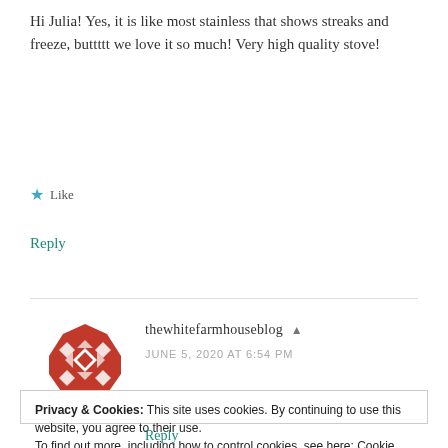Hi Julia! Yes, it is like most stainless that shows streaks and freeze, buttttt we love it so much! Very high quality stove!
★ Like
Reply
thewhitefarmhouseblog ▪ JUNE 5, 2020 AT 6:54 PM
[Figure (logo): Red decorative quilt-pattern logo for thewhitefarmhouseblog]
Privacy & Cookies: This site uses cookies. By continuing to use this website, you agree to their use. To find out more, including how to control cookies, see here: Cookie Policy
Close and accept
Reply